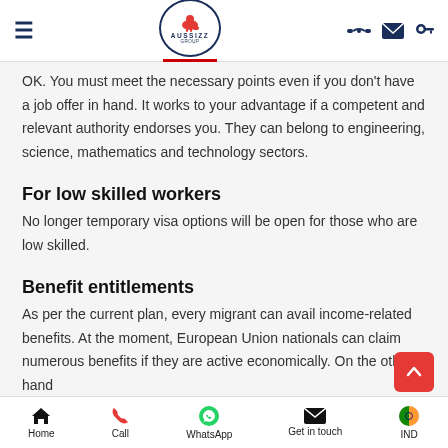AUSSIZZ GROUP
OK. You must meet the necessary points even if you don't have a job offer in hand. It works to your advantage if a competent and relevant authority endorses you. They can belong to engineering, science, mathematics and technology sectors.
For low skilled workers
No longer temporary visa options will be open for those who are low skilled.
Benefit entitlements
As per the current plan, every migrant can avail income-related benefits. At the moment, European Union nationals can claim numerous benefits if they are active economically. On the other hand
Home | Call | WhatsApp | Get in touch | IND